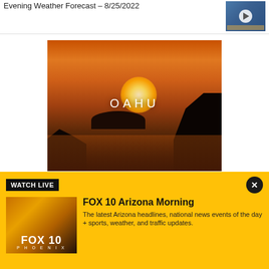Evening Weather Forecast – 8/25/2022
[Figure (screenshot): Weather forecast video thumbnail with play button]
[Figure (photo): Sunset photo of Oahu coastline with rocky cliffs and ocean, text overlay reads OAHU]
DISCOVER AMAZING TRAVEL SIDESTAGE.COM
WATCH LIVE
FOX 10 Arizona Morning
The latest Arizona headlines, national news events of the day + sports, weather, and traffic updates.